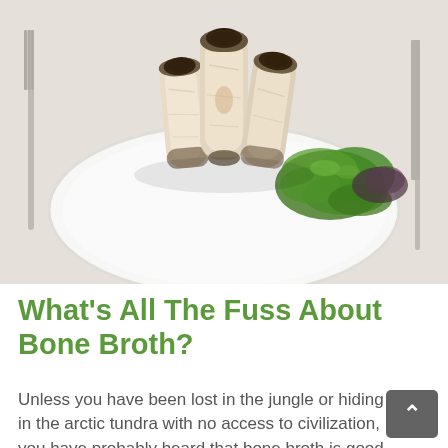[Figure (photo): A white plate with roasted bone marrow bones standing upright, accompanied by a green salad (arugula). A fork is visible on the left and a knife on the right, on a white tablecloth background.]
What's All The Fuss About Bone Broth?
Unless you have been lost in the jungle or hiding in the arctic tundra with no access to civilization, you have probably heard that bone broth is good for you. How good for you? Well that is up for